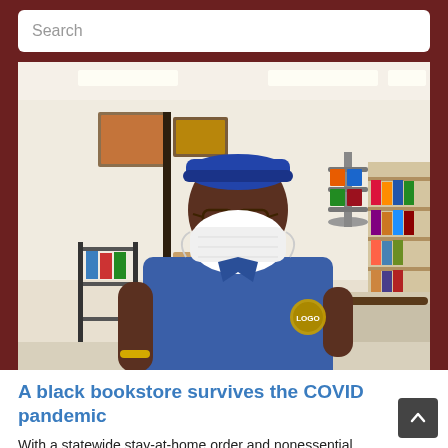Search
[Figure (photo): A Black bookstore worker wearing a blue polo shirt, blue cap, glasses, and a white face mask stands leaning against a counter in a bookstore. Behind him are shelves of books, art on the walls, and display racks.]
A black bookstore survives the COVID pandemic
With a statewide stay-at-home order and nonessential businesses closed, books were deemed Essential